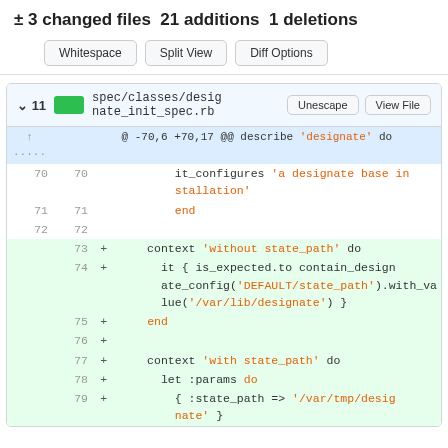± 3 changed files 21 additions 1 deletions
Whitespace  Split View  Diff Options
spec/classes/designate_init_spec.rb
@ -70,6 +70,17 @@ describe 'designate' do
| old | new | + | code |
| --- | --- | --- | --- |
| 70 | 70 |  | it_configures 'a designate base installation' |
| 71 | 71 |  | end |
| 72 | 72 |  |  |
|  | 73 | + | context 'without state_path' do |
|  | 74 | + | it { is_expected.to contain_designate_config('DEFAULT/state_path').with_value('/var/lib/designate') } |
|  | 75 | + | end |
|  | 76 | + |  |
|  | 77 | + | context 'with state_path' do |
|  | 78 | + | let :params do |
|  | 79 | + | { :state_path => '/var/tmp/designate' } |